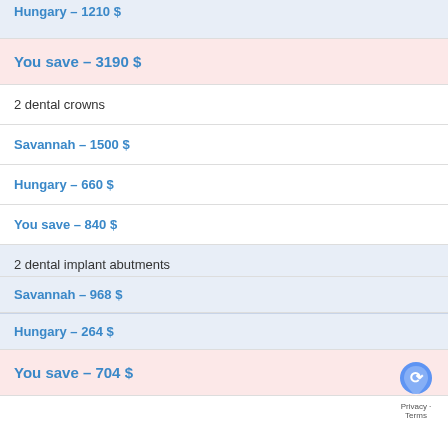Hungary – 1210 $
You save – 3190 $
2 dental crowns
Savannah – 1500 $
Hungary – 660 $
You save – 840 $
2 dental implant abutments
Savannah – 968 $
Hungary – 264 $
You save – 704 $